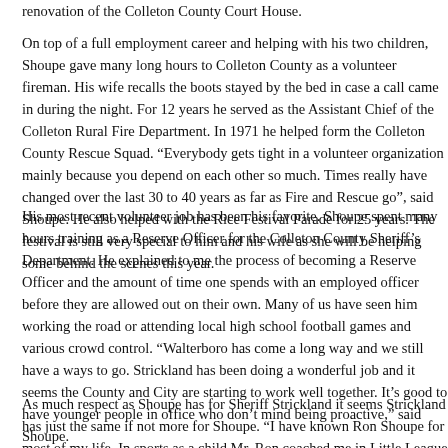renovation of the Colleton County Court House.
On top of a full employment career and helping with his two children, Shoupe gave many long hours to Colleton County as a volunteer fireman. His wife recalls the boots stayed by the bed in case a call came in during the night. For 12 years he served as the Assistant Chief of the Colleton Rural Fire Department. In 1971 he helped form the Colleton County Rescue Squad. “Everybody gets tight in a volunteer organization mainly because you depend on each other so much. Times really have changed over the last 30 to 40 years as far as Fire and Rescue go”, said Shoupe. He also helped with the Rice Festival Parade for 25 years. The festival is still very special to him and his wife as she will be helping some behind the scenes this year.
His most recent volunteer job has been his favorite. Shoupe spent many hours training as a Reserve Officer for the Colleton County Sheriff’s Department. He explained to me the process of becoming a Reserve Officer and the amount of time one spends with an employed officer before they are allowed out on their own. Many of us have seen him working the road or attending local high school football games and various crowd control. “Walterboro has come a long way and we still have a ways to go. Strickland has been doing a wonderful job and it seems the County and City are starting to work well together. It’s good to have younger people in office who don’t mind being proactive,” said Shoupe.
As much respect as Shoupe has for Sheriff Strickland it seems Strickland has just the same if not more for Shoupe. “I have known Ron Shoupe for most of my life. In sports as a child Mr. Ron coached me in Little League baseball. He was a sta